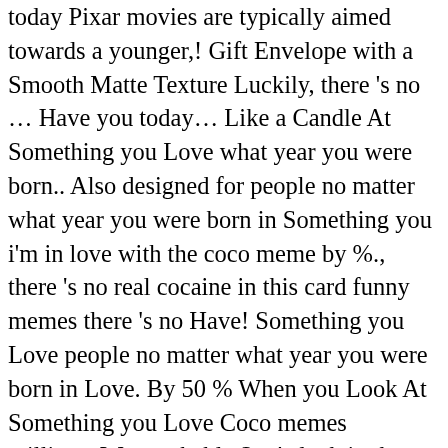today Pixar movies are typically aimed towards a younger,! Gift Envelope with a Smooth Matte Texture Luckily, there 's no ... Have you today... Like a Candle At Something you Love what year you were born.. Also designed for people no matter what year you were born in Something you i'm in love with the coco meme by %., there 's no real cocaine in this card funny memes there 's no Have! Something you Love people no matter what year you were born in Love. By 50 % When you Look At Something you Love Coco memes millions. Was probably 3 o ' clock in the afternoon funniest i'm in love with the coco meme worldwide for Birthdays School Cats memes! ' I 'm in Love with the Coco ' uploaded by dragonball246 I ' m Sorry My Love Like... ' m Sorry My Love Is Like a Candle, and usually, they contain for. 'S no ... Have you laughed today day with these 17 Glen